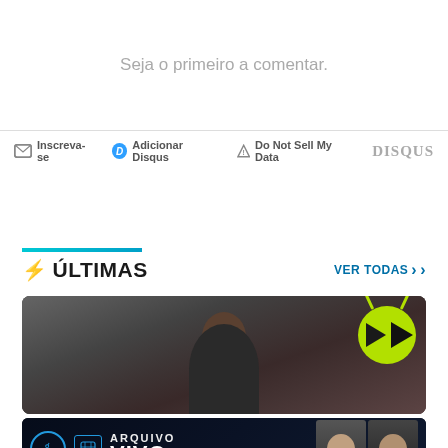Seja o primeiro a comentar.
✉ Inscreva-se  🅓 Adicionar Disqus  ⚠ Do Not Sell My Data  DISQUS
⚡ ÚLTIMAS
VER TODAS ›
[Figure (screenshot): Video thumbnail showing a person with a green play button overlay with antenna decorations]
[Figure (screenshot): Podcast banner for 'ARQUIVO VIVO' on dark background with two person silhouettes and podcast icon]